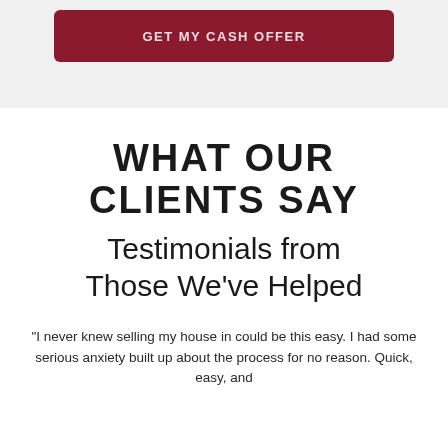[Figure (other): Dark red/maroon rounded button with white uppercase text, partially visible at top of page on a light gray background]
WHAT OUR CLIENTS SAY
Testimonials from Those We've Helped
"I never knew selling my house in could be this easy. I had some serious anxiety built up about the process for no reason. Quick, easy, and